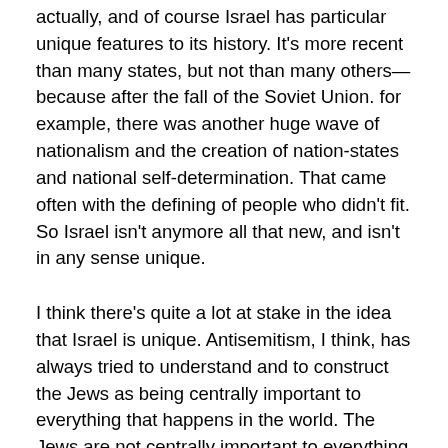actually, and of course Israel has particular unique features to its history. It's more recent than many states, but not than many others—because after the fall of the Soviet Union. for example, there was another huge wave of nationalism and the creation of nation-states and national self-determination. That came often with the defining of people who didn't fit. So Israel isn't anymore all that new, and isn't in any sense unique.
I think there's quite a lot at stake in the idea that Israel is unique. Antisemitism, I think, has always tried to understand and to construct the Jews as being centrally important to everything that happens in the world. The Jews are not centrally important to everything that happens in the world. Jews are a rather small and rather insignificant group of people, actually.